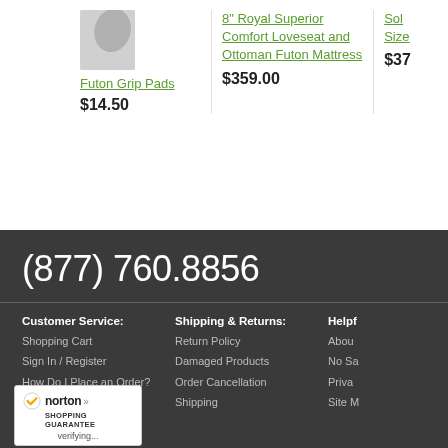[Figure (photo): Product image placeholder - grey shape]
Futon Grip Pads
$14.50
8" Royal Superior Comfort Loveseat and Ottoman Futon Mattress
$359.00
Sol [truncated] Size [truncated]
$37 [truncated]
(877) 760.8856
Customer Service:
Shopping Cart
Sign In / Register
How Do I Place an Order?
Contact Us
Warranties
Shipping & Returns:
Return Policy
Damaged Products
Order Cancellation
Shipping
Helpf [truncated]
Abou [truncated]
No Sa [truncated]
Priva [truncated]
Site M [truncated]
[Figure (logo): Norton Shopping Guarantee badge with checkmark]